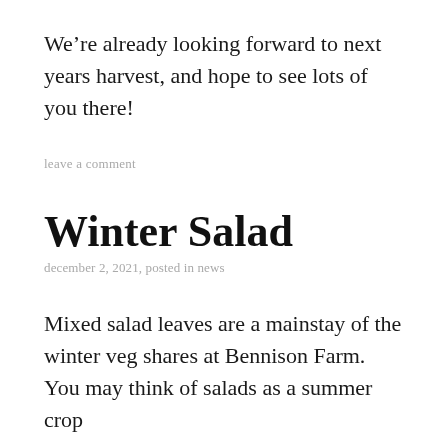We’re already looking forward to next years harvest, and hope to see lots of you there!
leave a comment
Winter Salad
december 2, 2021, posted in news
Mixed salad leaves are a mainstay of the winter veg shares at Bennison Farm. You may think of salads as a summer crop